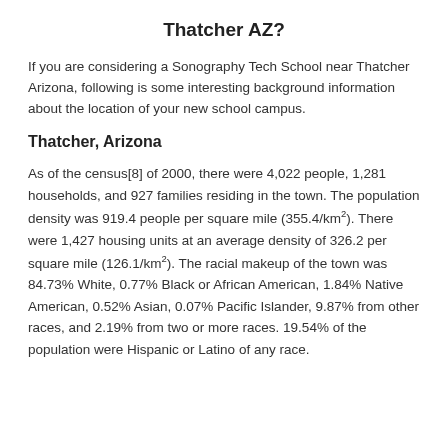Thatcher AZ?
If you are considering a Sonography Tech School near Thatcher Arizona, following is some interesting background information about the location of your new school campus.
Thatcher, Arizona
As of the census[8] of 2000, there were 4,022 people, 1,281 households, and 927 families residing in the town. The population density was 919.4 people per square mile (355.4/km²). There were 1,427 housing units at an average density of 326.2 per square mile (126.1/km²). The racial makeup of the town was 84.73% White, 0.77% Black or African American, 1.84% Native American, 0.52% Asian, 0.07% Pacific Islander, 9.87% from other races, and 2.19% from two or more races. 19.54% of the population were Hispanic or Latino of any race.